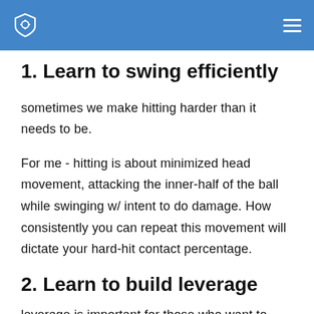1. Learn to swing efficiently
sometimes we make hitting harder than it needs to be.
For me - hitting is about minimized head movement, attacking the inner-half of the ball while swinging w/ intent to do damage. How consistently you can repeat this movement will dictate your hard-hit contact percentage.
2. Learn to build leverage